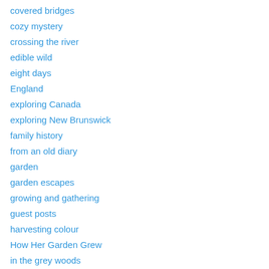covered bridges
cozy mystery
crossing the river
edible wild
eight days
England
exploring Canada
exploring New Brunswick
family history
from an old diary
garden
garden escapes
growing and gathering
guest posts
harvesting colour
How Her Garden Grew
in the grey woods
in the shelter of the covered bridge
introduction
journaling